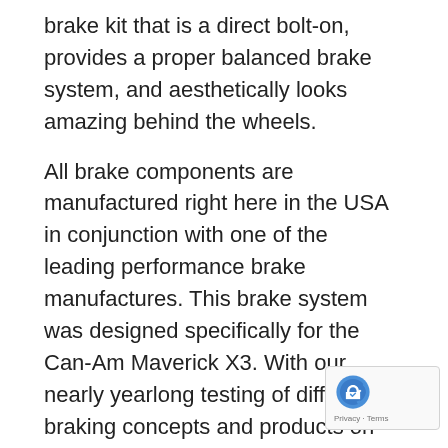brake kit that is a direct bolt-on, provides a proper balanced brake system, and aesthetically looks amazing behind the wheels.
All brake components are manufactured right here in the USA in conjunction with one of the leading performance brake manufactures. This brake system was designed specifically for the Can-Am Maverick X3. With our nearly yearlong testing of different braking concepts and products on the market, we found it absolutely necessary to do a 4 wheel brake kit. Wit...